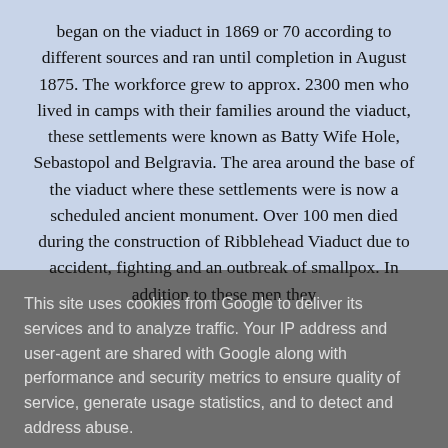began on the viaduct in 1869 or 70 according to different sources and ran until completion in August 1875. The workforce grew to approx. 2300 men who lived in camps with their families around the viaduct, these settlements were known as Batty Wife Hole, Sebastopol and Belgravia. The area around the base of the viaduct where these settlements were is now a scheduled ancient monument. Over 100 men died during the construction of Ribblehead Viaduct due to accident, fighting and an outbreak of smallpox. In addition to these men they
This site uses cookies from Google to deliver its services and to analyze traffic. Your IP address and user-agent are shared with Google along with performance and security metrics to ensure quality of service, generate usage statistics, and to detect and address abuse.
LEARN MORE   OK